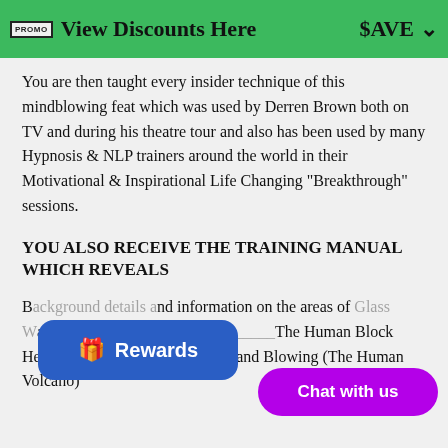View Discounts Here $AVE
You are then taught every insider technique of this mindblowing feat which was used by Derren Brown both on TV and during his theatre tour and also has been used by many Hypnosis & NLP trainers around the world in their Motivational & Inspirational Life Changing "Breakthrough" sessions.
YOU ALSO RECEIVE THE TRAINING MANUAL WHICH REVEALS
Background details and information on the areas of Glass Walking, Fire Walking, The Human Block Head (Nail into Face), Breathing and Blowing (The Human Volcano)